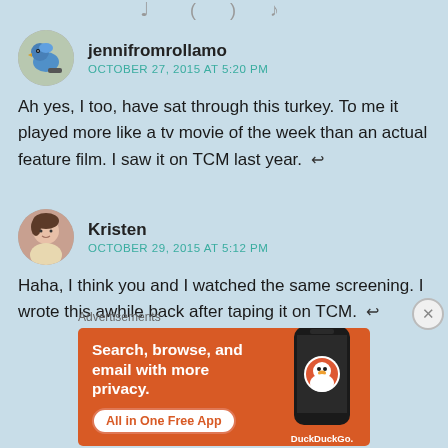jennifromrollamo
OCTOBER 27, 2015 AT 5:20 PM
Ah yes, I too, have sat through this turkey. To me it played more like a tv movie of the week than an actual feature film. I saw it on TCM last year.
Kristen
OCTOBER 29, 2015 AT 5:12 PM
Haha, I think you and I watched the same screening. I wrote this awhile back after taping it on TCM.
Advertisements
[Figure (infographic): DuckDuckGo advertisement banner with orange background. Text: 'Search, browse, and email with more privacy. All in One Free App' with DuckDuckGo logo and phone image.]